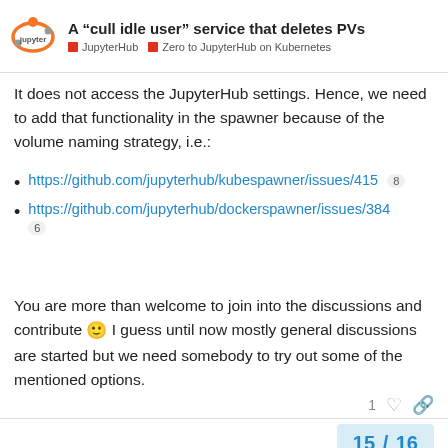A “cull idle user” service that deletes PVs | JupyterHub | Zero to JupyterHub on Kubernetes
It does not access the JupyterHub settings. Hence, we need to add that functionality in the spawner because of the volume naming strategy, i.e.:
https://github.com/jupyterhub/kubespawner/issues/415 [8]
https://github.com/jupyterhub/dockerspawner/issues/384 [6]
You are more than welcome to join into the discussions and contribute 🙂 I guess until now mostly general discussions are started but we need somebody to try out some of the mentioned options.
15 / 16
Reply
Suggested Topics